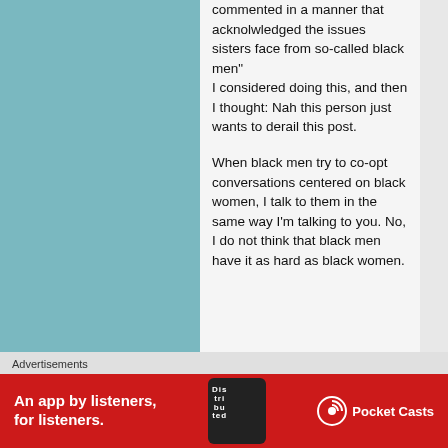commented in a manner that acknolwledged the issues sisters face from so-called black men" I considered doing this, and then I thought: Nah this person just wants to derail this post.

When black men try to co-opt conversations centered on black women, I talk to them in the same way I'm talking to you. No, I do not think that black men have it as hard as black women.
[Figure (screenshot): Advertisement banner: red background with text 'An app by listeners, for listeners.' alongside Pocket Casts logo and a phone image showing 'Distributed']